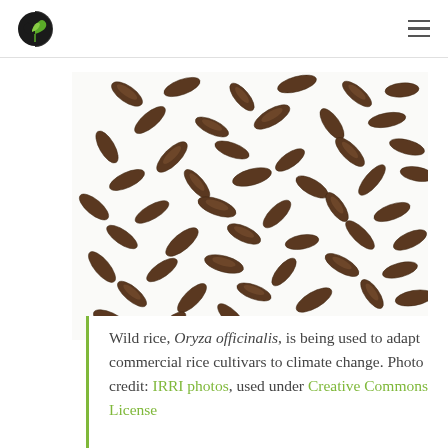[Figure (photo): Close-up photograph of wild rice seeds (Oryza officinalis) scattered on a white background, showing numerous dark brown elongated grains]
Wild rice, Oryza officinalis, is being used to adapt commercial rice cultivars to climate change. Photo credit: IRRI photos, used under Creative Commons License